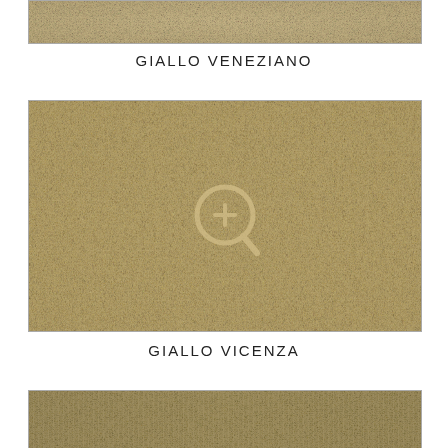[Figure (photo): Top partial view of a granite stone sample — Giallo Veneziano, warm beige/tan granular texture with light speckles, partially visible at top of page]
GIALLO VENEZIANO
[Figure (photo): Granite stone sample — Giallo Vicenza, warm golden-beige granular texture with brownish veining and speckles, with a zoom/magnify icon overlay in the center]
GIALLO VICENZA
[Figure (photo): Bottom partial view of another granite stone sample, darker olive/khaki beige tone, partially visible at bottom of page]